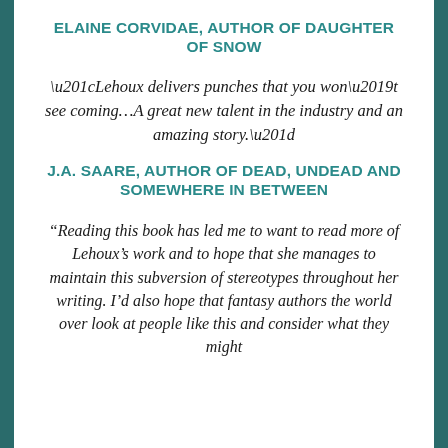ELAINE CORVIDAE, AUTHOR OF DAUGHTER OF SNOW
“Lehoux delivers punches that you won’t see coming…A great new talent in the industry and an amazing story.”
J.A. SAARE, AUTHOR OF DEAD, UNDEAD AND SOMEWHERE IN BETWEEN
“Reading this book has led me to want to read more of Lehoux’s work and to hope that she manages to maintain this subversion of stereotypes throughout her writing. I’d also hope that fantasy authors the world over look at people like this and consider what they might…